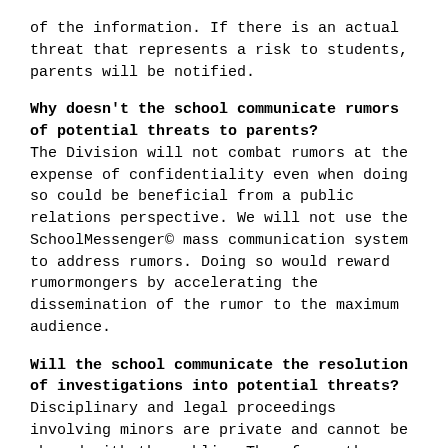of the information. If there is an actual threat that represents a risk to students, parents will be notified.
Why doesn't the school communicate rumors of potential threats to parents?
The Division will not combat rumors at the expense of confidentiality even when doing so could be beneficial from a public relations perspective. We will not use the SchoolMessenger© mass communication system to address rumors. Doing so would reward rumormongers by accelerating the dissemination of the rumor to the maximum audience.
Will the school communicate the resolution of investigations into potential threats?
Disciplinary and legal proceedings involving minors are private and cannot be shared with the public. Therefore, the resolution of disciplinary matters that involve school-aged children will not be communicated to the public.
What about social media?
Generally, social media is used to provide parents with information related to school-wide and/or group-specific